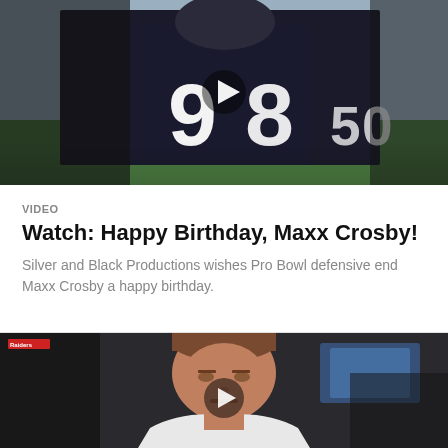[Figure (photo): Football players on field, one wearing jersey number 98, another 50, in black Raiders uniforms. Play button overlay visible.]
VIDEO
Watch: Happy Birthday, Maxx Crosby!
Silver and Black Productions wishes Pro Bowl defensive end Maxx Crosby a happy birthday.
[Figure (photo): Close-up of a man with short brown hair wearing a white hoodie, looking slightly down. Play button overlay in center. Small red logo visible in top left corner.]